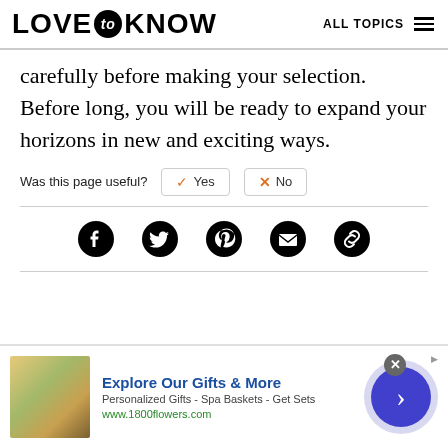LOVE to KNOW   ALL TOPICS
carefully before making your selection. Before long, you will be ready to expand your horizons in new and exciting ways.
Was this page useful?  ✓ Yes  ✗ No
[Figure (infographic): Social share icons: Facebook, Twitter, Pinterest, Email, Link]
[Figure (infographic): Advertisement banner: Explore Our Gifts & More. Personalized Gifts - Spa Baskets - Get Sets. www.1800flowers.com]